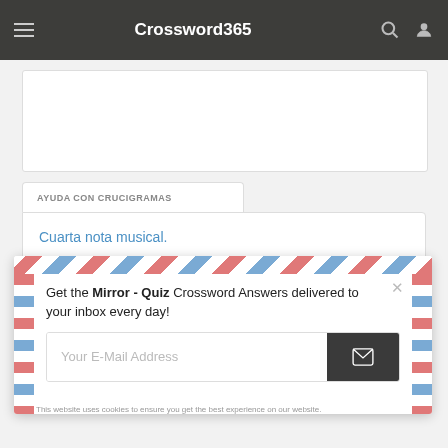Crossword365
[Figure (screenshot): White ad placeholder box with light gray border]
AYUDA CON CRUCIGRAMAS
Cuarta nota musical.
[Figure (screenshot): Email subscription popup with airmail border design. Text: Get the Mirror - Quiz Crossword Answers delivered to your inbox every day! With an email input field and submit button.]
This website uses cookies to ensure you get the best experience on our website.